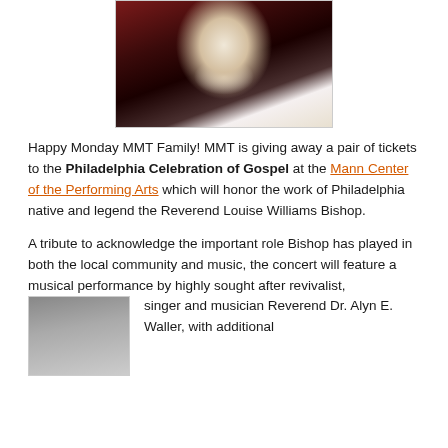[Figure (photo): Portrait photo of a woman in a dark blazer with white collar, wearing a necklace, against a reddish dark background]
Happy Monday MMT Family!  MMT is giving away a pair of tickets to the Philadelphia Celebration of Gospel at the Mann Center of the Performing Arts which will honor the work of Philadelphia native and legend the Reverend Louise Williams Bishop.
A tribute to acknowledge the important role Bishop has played in both the local community and music, the concert will feature a musical performance by highly sought after revivalist, singer and musician Reverend Dr. Alyn E. Waller, with additional
[Figure (photo): Portrait photo of a man, partially visible in bottom left corner]